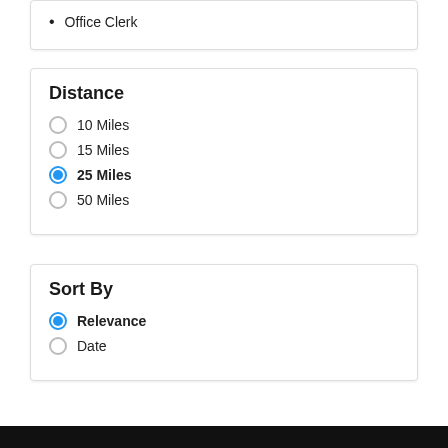Office Clerk
Distance
10 Miles
15 Miles
25 Miles
50 Miles
Sort By
Relevance
Date